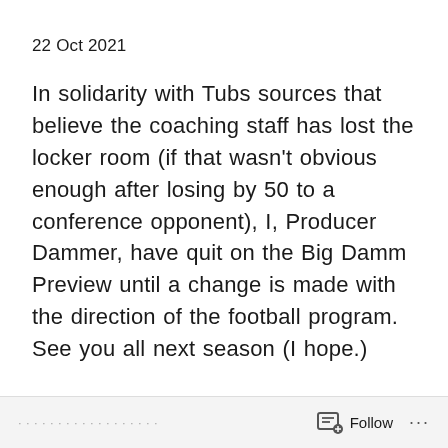22 Oct 2021
In solidarity with Tubs sources that believe the coaching staff has lost the locker room (if that wasn’t obvious enough after losing by 50 to a conference opponent), I, Producer Dammer, have quit on the Big Damm Preview until a change is made with the direction of the football program. See you all next season (I hope.)
Follow ...